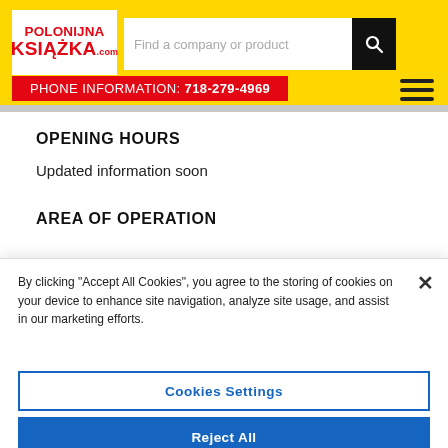POLONIJNA KSIAZKA.com
Find a company or product
PHONE INFORMATION: 718-279-4969
OPENING HOURS
Updated information soon
AREA OF OPERATION
By clicking "Accept All Cookies", you agree to the storing of cookies on your device to enhance site navigation, analyze site usage, and assist in our marketing efforts.
Cookies Settings
Reject All